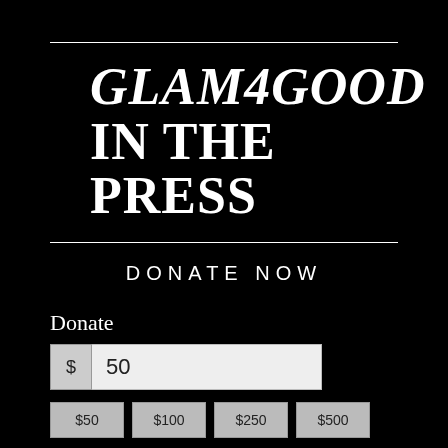GLAM4GOOD IN THE PRESS
DONATE NOW
Donate
$ 50
$50  $100  $250  $500